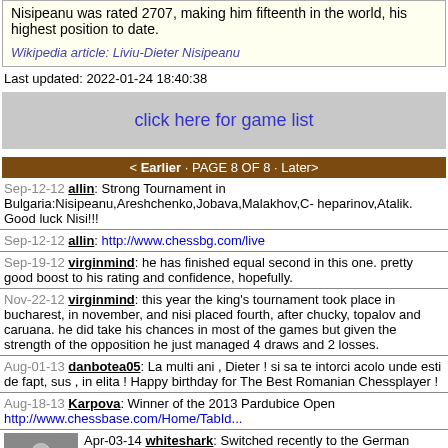Nisipeanu was rated 2707, making him fifteenth in the world, his highest position to date.
Wikipedia article: Liviu-Dieter Nisipeanu
Last updated: 2022-01-24 18:40:38
click here for game list
< Earlier · PAGE 8 OF 8 · Later>
Sep-12-12 allin: Strong Tournament in Bulgaria:Nisipeanu,Areshchenko,Jobava,Malakhov,C- heparinov,Atalik. Good luck Nisi!!!
Sep-12-12 allin: http://www.chessbg.com/live
Sep-19-12 virginmind: he has finished equal second in this one. pretty good boost to his rating and confidence, hopefully.
Nov-22-12 virginmind: this year the king's tournament took place in bucharest, in november, and nisi placed fourth, after chucky, topalov and caruana. he did take his chances in most of the games but given the strength of the opposition he just managed 4 draws and 2 losses.
Aug-01-13 danbotea05: La multi ani , Dieter ! si sa te intorci acolo unde esti de fapt, sus , in elita ! Happy birthday for The Best Romanian Chessplayer !
Aug-18-13 Karpova: Winner of the 2013 Pardubice Open http://www.chessbase.com/Home/TabId...
Apr-03-14 whiteshark: Switched recently to the German Chess Federation, and is ELO-wise now their new no 2.